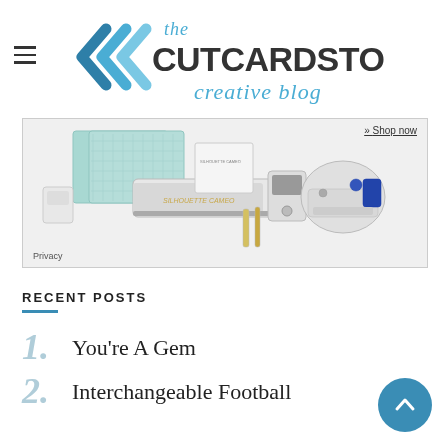the CutCardStock creative blog
[Figure (photo): Advertisement showing Silhouette Cameo cutting machine, cutting mats, sewing machine, and accessories. Includes 'Shop Now' link and Privacy label.]
RECENT POSTS
1. You’re A Gem
2. Interchangeable Football